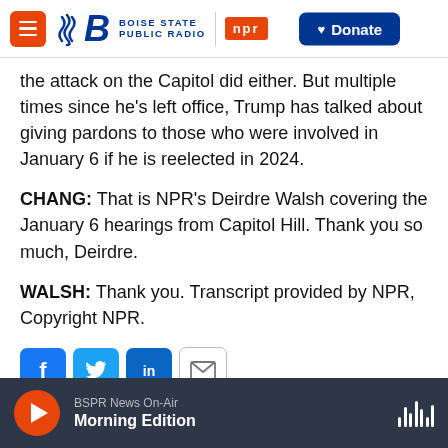Boise State Public Radio | NPR — Donate
the attack on the Capitol did either. But multiple times since he's left office, Trump has talked about giving pardons to those who were involved in January 6 if he is reelected in 2024.
CHANG: That is NPR's Deirdre Walsh covering the January 6 hearings from Capitol Hill. Thank you so much, Deirdre.
WALSH: Thank you. Transcript provided by NPR, Copyright NPR.
[Figure (other): Social share buttons: Facebook, Twitter, LinkedIn, Email]
BSPR News On-Air — Morning Edition